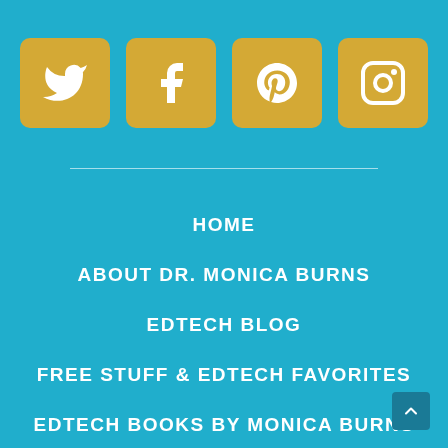[Figure (infographic): Four golden rounded square icon boxes in a row: Twitter bird, Facebook f, Pinterest p, and Instagram camera icons in white on gold background]
HOME
ABOUT DR. MONICA BURNS
EDTECH BLOG
FREE STUFF & EDTECH FAVORITES
EDTECH BOOKS BY MONICA BURNS
EASY EDTECH PODCAST